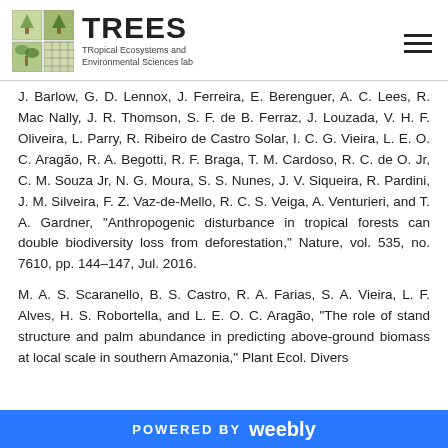TREES — TRopical Ecosystems and Environmental Sciences lab
J. Barlow, G. D. Lennox, J. Ferreira, E. Berenguer, A. C. Lees, R. Mac Nally, J. R. Thomson, S. F. de B. Ferraz, J. Louzada, V. H. F. Oliveira, L. Parry, R. Ribeiro de Castro Solar, I. C. G. Vieira, L. E. O. C. Aragão, R. A. Begotti, R. F. Braga, T. M. Cardoso, R. C. de O. Jr, C. M. Souza Jr, N. G. Moura, S. S. Nunes, J. V. Siqueira, R. Pardini, J. M. Silveira, F. Z. Vaz-de-Mello, R. C. S. Veiga, A. Venturieri, and T. A. Gardner, "Anthropogenic disturbance in tropical forests can double biodiversity loss from deforestation," Nature, vol. 535, no. 7610, pp. 144–147, Jul. 2016.
M. A. S. Scaranello, B. S. Castro, R. A. Farias, S. A. Vieira, L. F. Alves, H. S. Robortella, and L. E. O. C. Aragão, "The role of stand structure and palm abundance in predicting above-ground biomass at local scale in southern Amazonia," Plant Ecol. Divers…
POWERED BY weebly